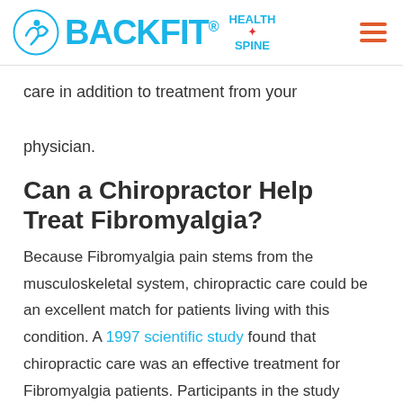BACKFIT® HEALTH SPINE
care in addition to treatment from your physician.
Can a Chiropractor Help Treat Fibromyalgia?
Because Fibromyalgia pain stems from the musculoskeletal system, chiropractic care could be an excellent match for patients living with this condition. A 1997 scientific study found that chiropractic care was an effective treatment for Fibromyalgia patients. Participants in the study